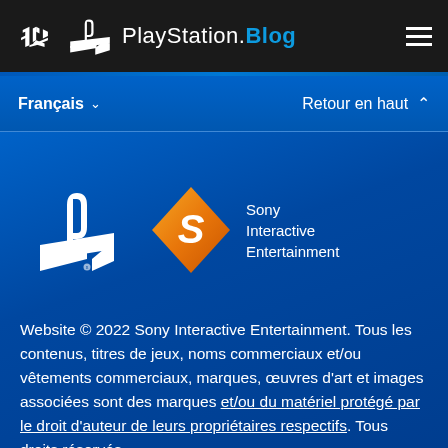PlayStation.Blog
Français ∨   Retour en haut ∧
[Figure (logo): PlayStation logo (white) and Sony Interactive Entertainment logo (orange diamond with S) on blue background]
Website © 2022 Sony Interactive Entertainment. Tous les contenus, titres de jeux, noms commerciaux et/ou vêtements commerciaux, marques, œuvres d'art et images associées sont des marques et/ou du matériel protégé par le droit d'auteur de leurs propriétaires respectifs. Tous droits réservés.